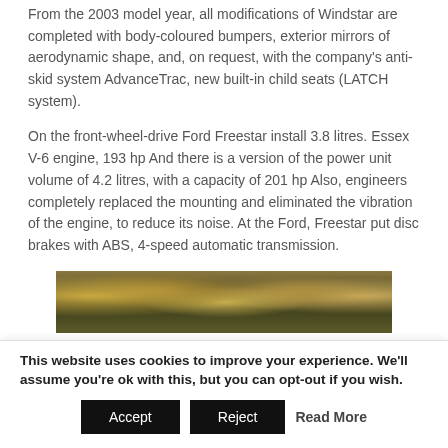From the 2003 model year, all modifications of Windstar are completed with body-coloured bumpers, exterior mirrors of aerodynamic shape, and, on request, with the company's anti-skid system AdvanceTrac, new built-in child seats (LATCH system).
On the front-wheel-drive Ford Freestar install 3.8 litres. Essex V-6 engine, 193 hp And there is a version of the power unit volume of 4.2 litres, with a capacity of 201 hp Also, engineers completely replaced the mounting and eliminated the vibration of the engine, to reduce its noise. At the Ford, Freestar put disc brakes with ABS, 4-speed automatic transmission.
[Figure (photo): A horizontal strip photograph of trees with autumn foliage in yellow and gold tones against a dark background.]
This website uses cookies to improve your experience. We'll assume you're ok with this, but you can opt-out if you wish.